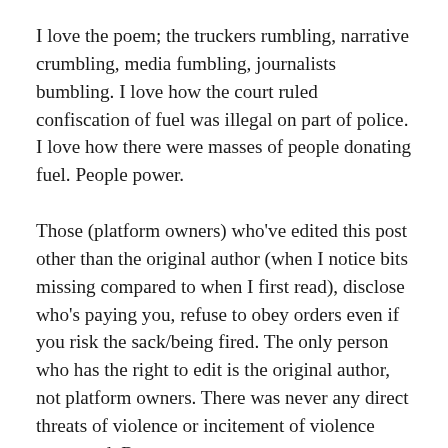I love the poem; the truckers rumbling, narrative crumbling, media fumbling, journalists bumbling. I love how the court ruled confiscation of fuel was illegal on part of police. I love how there were masses of people donating fuel. People power.
Those (platform owners) who've edited this post other than the original author (when I notice bits missing compared to when I first read), disclose who's paying you, refuse to obey orders even if you risk the sack/being fired. The only person who has the right to edit is the original author, not platform owners. There was never any direct threats of violence or incitement of violence expressed. Reportage